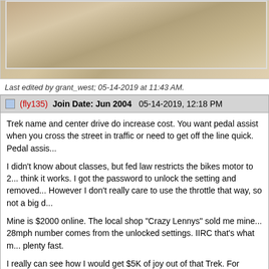[Figure (photo): Partial image of wood grain or wooden surface, shown at top of page, cropped]
Last edited by grant_west; 05-14-2019 at 11:43 AM.
(fly135)  Join Date: Jun 2004  05-14-2019, 12:18 PM
Trek name and center drive do increase cost. You want pedal assist when you cross the street in traffic or need to get off the line quick. Pedal assis...

I didn't know about classes, but fed law restricts the bikes motor to 2... think it works. I got the password to unlock the setting and removed... However I don't really care to use the throttle that way, so not a big d...

Mine is $2000 online. The local shop "Crazy Lennys" sold me mine... 28mph number comes from the unlocked settings. IIRC that's what m... plenty fast.

I really can see how I would get $5K of joy out of that Trek. For way... computer that supports no limits. I haven't really looked into that.
(grant_west)  Join Date: Jun 2005  05-15-2019, 2:09 AM
The sales person said all mountain bikes we class 2 bikes he said s... all class 2 bikes.